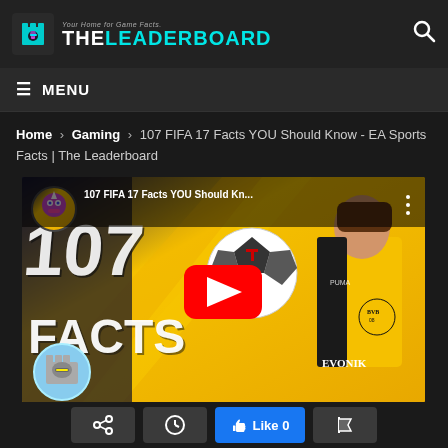THE LEADERBOARD — Your Home for Game Facts
☰ MENU
Home › Gaming › 107 FIFA 17 Facts YOU Should Know - EA Sports Facts | The Leaderboard
[Figure (screenshot): YouTube video thumbnail for '107 FIFA 17 Facts YOU Should Know...' showing a footballer in a yellow Borussia Dortmund BVB EVONIK jersey with a play button overlay]
Share | Clock/History | Like 0 | Flag